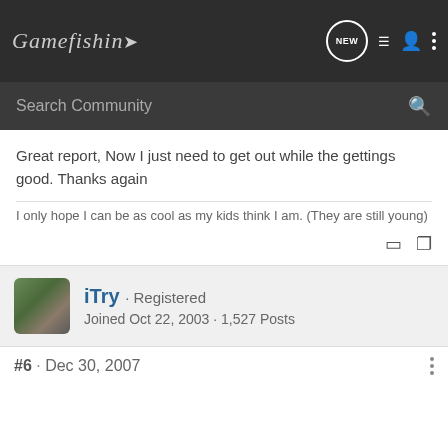Gamefishin [logo with arrow] - Search Community
Great report, Now I just need to get out while the gettings good. Thanks again
I only hope I can be as cool as my kids think I am. (They are still young)
iTry · Registered
Joined Oct 22, 2003 · 1,527 Posts
#6 · Dec 30, 2007